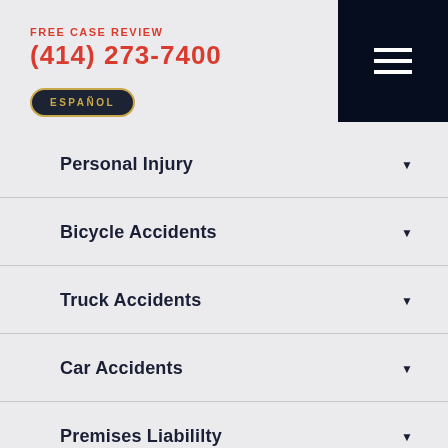FREE CASE REVIEW
(414) 273-7400
ESPAÑOL
Personal Injury
Bicycle Accidents
Truck Accidents
Car Accidents
Premises Liabililty